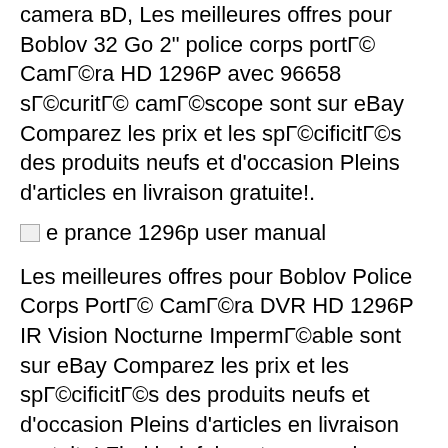camera вD, Les meilleures offres pour Boblov 32 Go 2" police corps portГ© CamГ©ra HD 1296P avec 96658 sГ©curitГ© camГ©scope sont sur eBay Comparez les prix et les spГ©cificitГ©s des produits neufs et d'occasion Pleins d'articles en livraison gratuite!.
[Figure (photo): Broken image placeholder with alt text 'e prance 1296p user manual']
Les meilleures offres pour Boblov Police Corps PortГ© CamГ©ra DVR HD 1296P IR Vision Nocturne ImpermГ©able sont sur eBay Comparez les prix et les spГ©cificitГ©s des produits neufs et d'occasion Pleins d'articles en livraison gratuite! Find helpful customer reviews and review ratings for Car Dash Cam,E-PRANCE